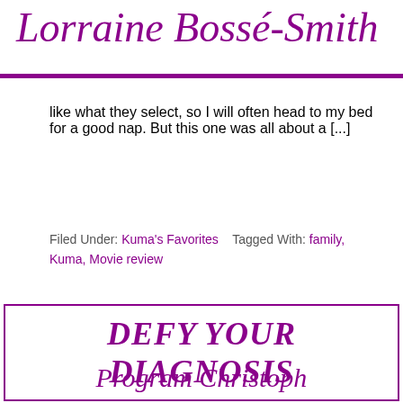Lorraine Bossé-Smith
like what they select, so I will often head to my bed for a good nap. But this one was all about a [...]
Filed Under: Kuma's Favorites   Tagged With: family, Kuma, Movie review
DEFY YOUR DIAGNOSIS